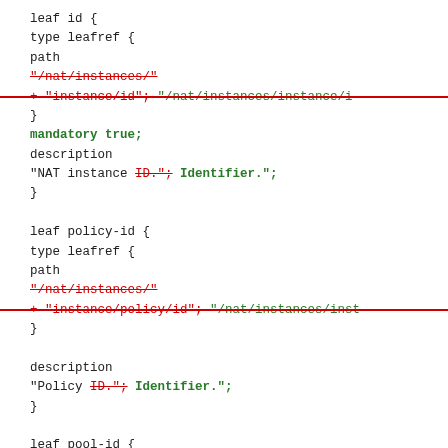leaf id {
  type leafref {
    path
      "/nat/instances/"
      + "instance/id"; "/nat/instances/instance/i...
  }
  mandatory true;
  description
    "NAT instance ID."; Identifier.";
}

leaf policy-id {
  type leafref {
    path
      "/nat/instances/"
      + "instance/policy/id"; "/nat/instances/inst...
  }

  description
    "Policy ID."; Identifier.";
}

leaf pool-id {
  type leafref {
    path
      "/nat/instances/"
      + "instance/policy/"
      "/nat/instances/instance/policy/"
      + "external-ip-address-pool/pool-id";
  }